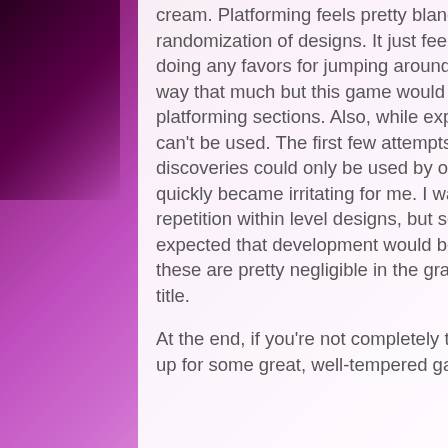cream. Platforming feels pretty bland, especially so because of the randomization of designs. It just feels… off. And the starchy controls aren't doing any favors for jumping around and dodging traps. It never gets in the way that much but this game would be better if ACE chose to not add platforming sections. Also, while exploration can be rewarding, a lot of items can't be used. The first few attempts I played, most of the new weapon discoveries could only be used by one of the other unlockable characters and quickly became irritating for me. I was also a bit disappointed with the repetition within level designs, but seeing as this is a smaller title, it's to be expected that development would be focused on the main gameplay. Overall, these are pretty negligible in the grand scheme but mar an otherwise solid title.
At the end, if you're not completely tired of the latest rogue-like trend and are up for some great, well-tempered gameplay then Abyss